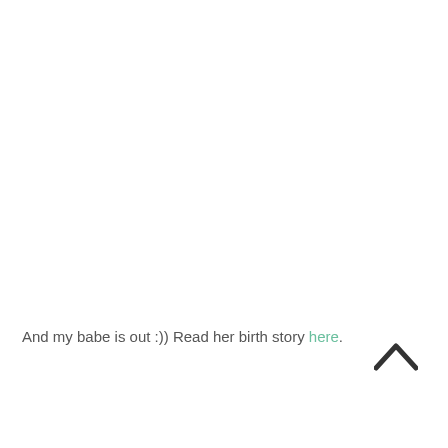And my babe is out :)) Read her birth story here.
[Figure (other): A dark upward-pointing chevron/caret arrow icon in the bottom-right area of the page]